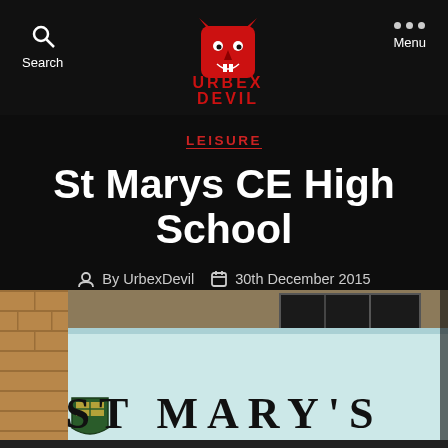Search | UrbexDevil | Menu
LEISURE
St Marys CE High School
By UrbexDevil   30th December 2015
[Figure (photo): Photo of a school building showing a weathered light-blue sign board mounted on a brick wall reading ST MARY'S with a crest/shield icon on the lower left.]